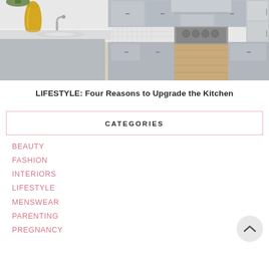[Figure (photo): Modern kitchen interior with gray cabinets, white countertop island, gold vase, stainless steel appliances, and light wood flooring]
LIFESTYLE: Four Reasons to Upgrade the Kitchen
CATEGORIES
BEAUTY
FASHION
INTERIORS
LIFESTYLE
MENSWEAR
PARENTING
PREGNANCY